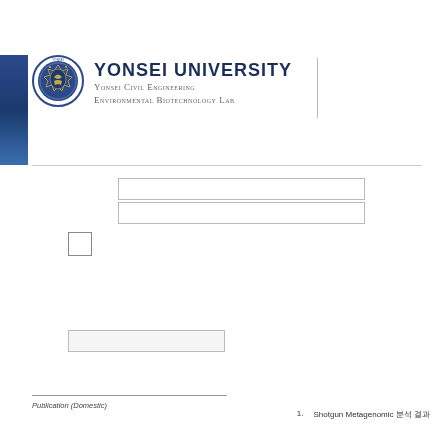[Figure (logo): Yonsei University circular seal/crest in blue and gold]
YONSEI UNIVERSITY
Yonsei Civil Engineering Environmental Biotechnology Lab
1.   Shotgun Metagenomic 분석 결과